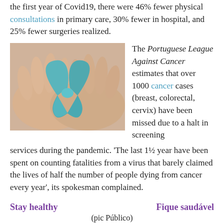the first year of Covid19, there were 46% fewer physical consultations in primary care, 30% fewer in hospital, and 25% fewer surgeries realized.
[Figure (photo): Two hands holding a teal/turquoise cancer awareness ribbon against a light background.]
The Portuguese League Against Cancer estimates that over 1000 cancer cases (breast, colorectal, cervix) have been missed due to a halt in screening services during the pandemic. 'The last 1½ year have been spent on counting fatalities from a virus that barely claimed the lives of half the number of people dying from cancer every year', its spokesman complained.
Stay healthy                                          Fique saudável
(pic Público)